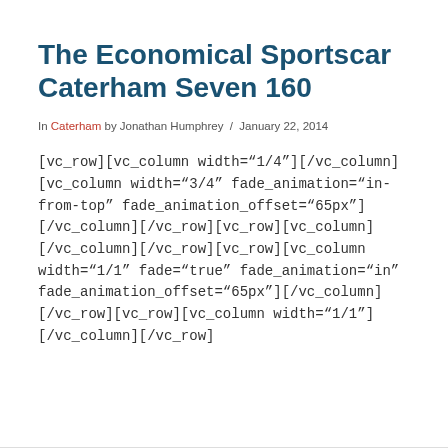The Economical Sportscar Caterham Seven 160
In Caterham by Jonathan Humphrey / January 22, 2014
[vc_row][vc_column width="1/4"][/vc_column][vc_column width="3/4" fade_animation="in-from-top" fade_animation_offset="65px"][/vc_column][/vc_row][vc_row][vc_column][/vc_column][/vc_row][vc_row][vc_column width="1/1" fade="true" fade_animation="in" fade_animation_offset="65px"][/vc_column][/vc_row][vc_row][vc_column width="1/1"][/vc_column][/vc_row]